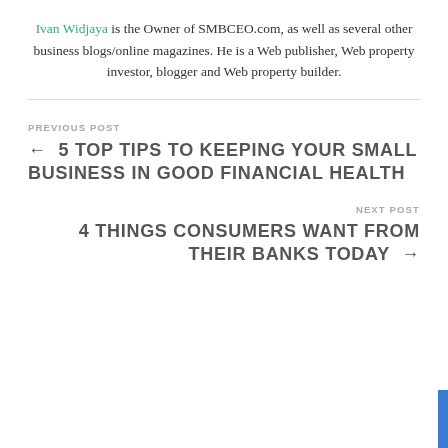Ivan Widjaya is the Owner of SMBCEO.com, as well as several other business blogs/online magazines. He is a Web publisher, Web property investor, blogger and Web property builder.
PREVIOUS POST
← 5 TOP TIPS TO KEEPING YOUR SMALL BUSINESS IN GOOD FINANCIAL HEALTH
NEXT POST
4 THINGS CONSUMERS WANT FROM THEIR BANKS TODAY →